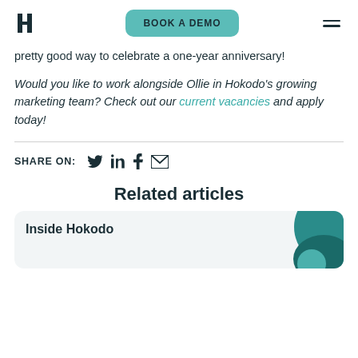BOOK A DEMO
pretty good way to celebrate a one-year anniversary!
Would you like to work alongside Ollie in Hokodo's growing marketing team? Check out our current vacancies and apply today!
SHARE ON:
Related articles
Inside Hokodo